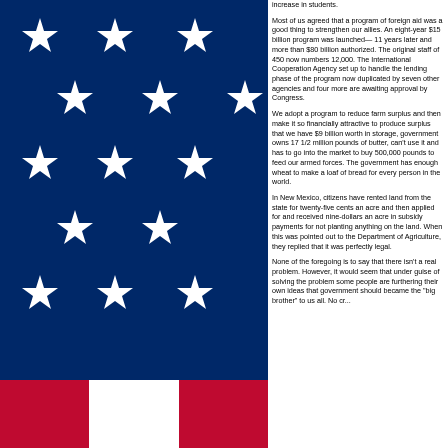[Figure (illustration): American flag showing the blue canton with white stars and partial red and white stripes at the bottom]
increase in students.

Most of us agreed that a program of foreign aid was a good thing to strengthen our allies. An eight-year $15 billion program was launched— 11 years later and more than $80 billion authorized. The original staff of 450 now numbers 12,000. The International Cooperation Agency set up to handle the lending phase of the program now duplicated by seven other agencies and four more are awaiting approval by Congress.

We adopt a program to reduce farm surplus and then make it so financially attractive to produce surplus that we have $9 billion worth in storage, government owns 17 1/2 million pounds of butter, can't use it and has to go into the market to buy 500,000 pounds to feed our armed forces. The government has enough wheat to make a loaf of bread for every person in the world.

In New Mexico, citizens have rented land from the state for twenty-five cents an acre and then applied for and received nine-dollars an acre in subsidy payments for not planting anything on the land. When this was pointed out to the Department of Agriculture, they replied that it was perfectly legal.

None of the foregoing is to say that there isn't a real problem. However, it would seem that under guise of solving the problem some people are furthering their own ideas that government should became the "big brother" to us all. No cr...